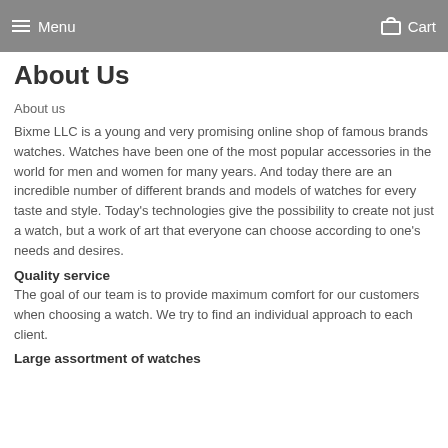Menu   Cart
About Us
About us
Bixme LLC is a young and very promising online shop of famous brands watches. Watches have been one of the most popular accessories in the world for men and women for many years. And today there are an incredible number of different brands and models of watches for every taste and style. Today's technologies give the possibility to create not just a watch, but a work of art that everyone can choose according to one's needs and desires.
Quality service
The goal of our team is to provide maximum comfort for our customers when choosing a watch. We try to find an individual approach to each client.
Large assortment of watches